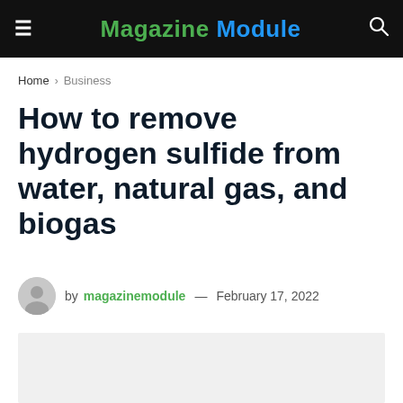Magazine Module
Home > Business
How to remove hydrogen sulfide from water, natural gas, and biogas
by magazinemodule — February 17, 2022
[Figure (photo): Featured image placeholder (light gray background)]